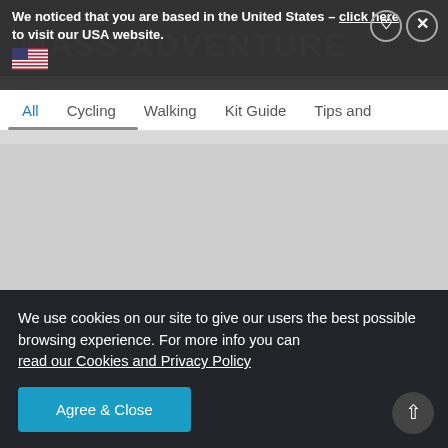We noticed that you are based in the United States - click here to visit our USA website.
[Figure (screenshot): US flag emoji icon]
All  Cycling  Walking  Kit Guide  Tips and
[Figure (photo): Large gray placeholder image area]
We use cookies on our site to give our users the best possible browsing experience. For more info you can read our Cookies and Privacy Policy
Agree & Close